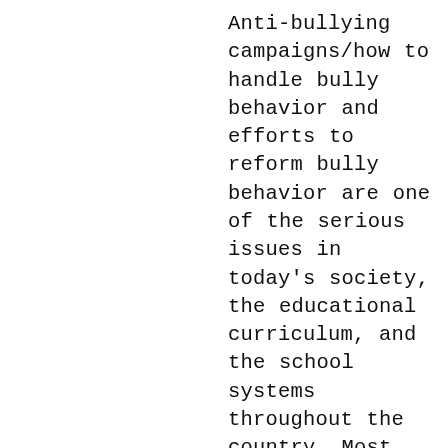Anti-bullying campaigns/how to handle bully behavior and efforts to reform bully behavior are one of the serious issues in today's society, the educational curriculum, and the school systems throughout the country. Most schools have adopted Anti-bullying campaigns in an effort to reform bully behavior. Educators/Teachers/Parents would like to teach children appropriate social skills and how to build and maintain friendships. Also, they would like to enhance their skills in problem solving, conflict